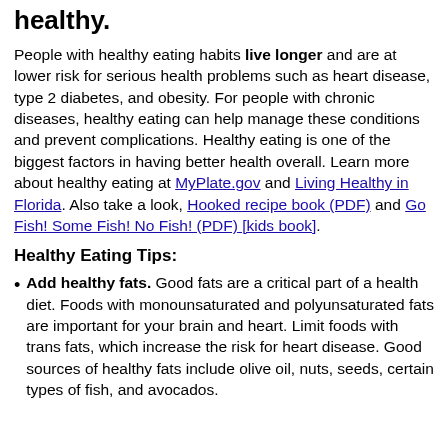healthy.
People with healthy eating habits live longer and are at lower risk for serious health problems such as heart disease, type 2 diabetes, and obesity. For people with chronic diseases, healthy eating can help manage these conditions and prevent complications. Healthy eating is one of the biggest factors in having better health overall. Learn more about healthy eating at MyPlate.gov and Living Healthy in Florida. Also take a look, Hooked recipe book (PDF) and Go Fish! Some Fish! No Fish! (PDF) [kids book].
Healthy Eating Tips:
Add healthy fats. Good fats are a critical part of a health diet. Foods with monounsaturated and polyunsaturated fats are important for your brain and heart. Limit foods with trans fats, which increase the risk for heart disease. Good sources of healthy fats include olive oil, nuts, seeds, certain types of fish, and avocados.